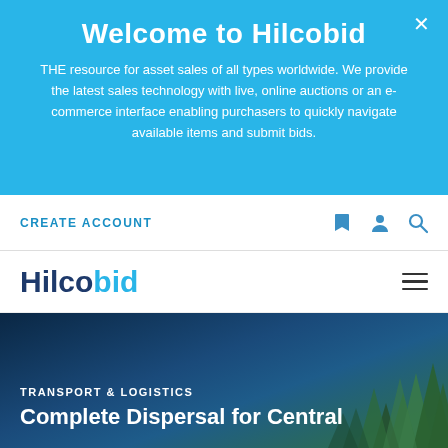Welcome to Hilcobid
THE resource for asset sales of all types worldwide. We provide the latest sales technology with live, online auctions or an e-commerce interface enabling purchasers to quickly navigate available items and submit bids.
CREATE ACCOUNT
[Figure (logo): Hilcobid logo with 'Hilco' in dark navy blue and 'bid' in light blue, plus hamburger menu icon]
[Figure (photo): Dark blue mountain forest scene with pine trees, hero banner background]
TRANSPORT & LOGISTICS
Complete Dispersal for Central